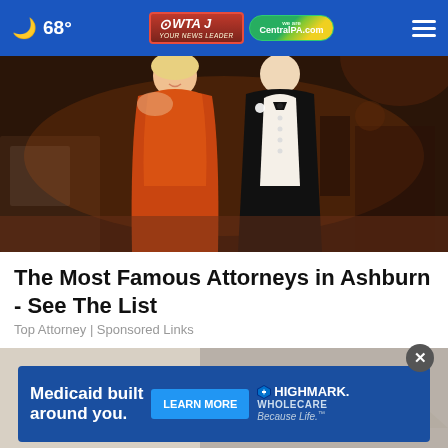68° | WTAJ YOUR NEWS LEADER | CentralPA.com
[Figure (photo): A couple at a formal event — a woman in a red strapless gown and a man in a black tuxedo with bow tie, standing in a banquet hall]
The Most Famous Attorneys in Ashburn - See The List
Top Attorney | Sponsored Links
[Figure (photo): Partial second image showing white and beige tones, partially obscured by advertisement banner]
Medicaid built around you.
LEARN MORE
HIGHMARK. WHOLECARE Because Life.